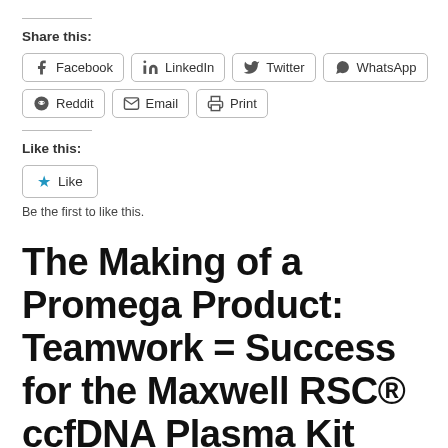Share this:
[Figure (other): Social sharing buttons: Facebook, LinkedIn, Twitter, WhatsApp, Reddit, Email, Print]
Like this:
[Figure (other): Like button with star icon]
Be the first to like this.
The Making of a Promega Product: Teamwork = Success for the Maxwell RSC® ccfDNA Plasma Kit